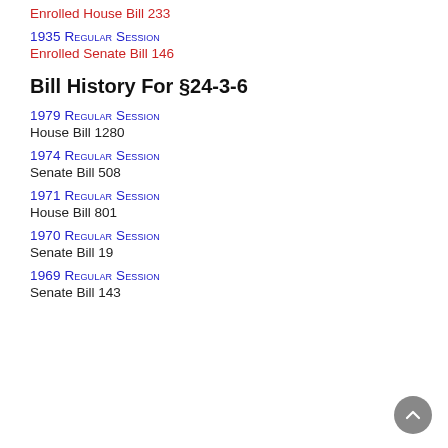Enrolled House Bill 233
1935 Regular Session
Enrolled Senate Bill 146
Bill History For §24-3-6
1979 Regular Session
House Bill 1280
1974 Regular Session
Senate Bill 508
1971 Regular Session
House Bill 801
1970 Regular Session
Senate Bill 19
1969 Regular Session
Senate Bill 143